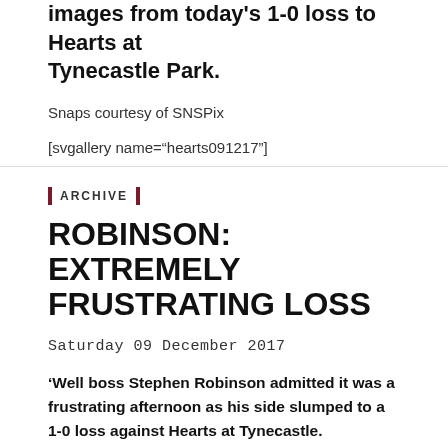images from today's 1-0 loss to Hearts at Tynecastle Park.
Snaps courtesy of SNSPix
[svgallery name="hearts091217"]
ARCHIVE
ROBINSON: EXTREMELY FRUSTRATING LOSS
Saturday 09 December 2017
'Well boss Stephen Robinson admitted it was a frustrating afternoon as his side slumped to a 1-0 loss against Hearts at Tynecastle.